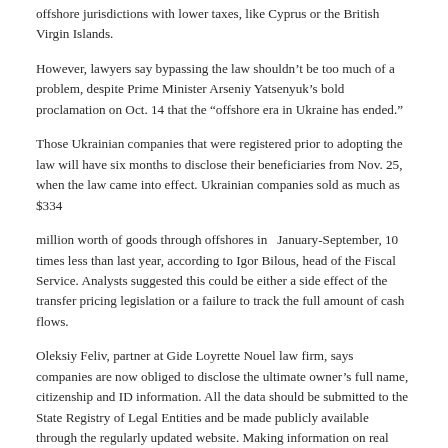offshore jurisdictions with lower taxes, like Cyprus or the British Virgin Islands.
However, lawyers say bypassing the law shouldn’t be too much of a problem, despite Prime Minister Arseniy Yatsenyuk’s bold proclamation on Oct. 14 that the “offshore era in Ukraine has ended.”
Those Ukrainian companies that were registered prior to adopting the law will have six months to disclose their beneficiaries from Nov. 25, when the law came into effect. Ukrainian companies sold as much as $334
million worth of goods through offshores in   January-September, 10 times less than last year, according to Igor Bilous, head of the Fiscal Service. Analysts suggested this could be either a side effect of the transfer pricing legislation or a failure to track the full amount of cash flows.
Oleksiy Feliv, partner at Gide Loyrette Nouel law firm, says companies are now obliged to disclose the ultimate owner’s full name, citizenship and ID information. All the data should be submitted to the State Registry of Legal Entities and be made publicly available through the regularly updated website. Making information on real estate owners public is also part of the document.
The law assigns the term “ultimate beneficial owner” to a person exercising ultimate effective control over a company, whether directly or through a chain of ownership. Such “ultimate effective control” particularly applies to situations where an individual owns 25 percent or more shares. Moreover, those who hold